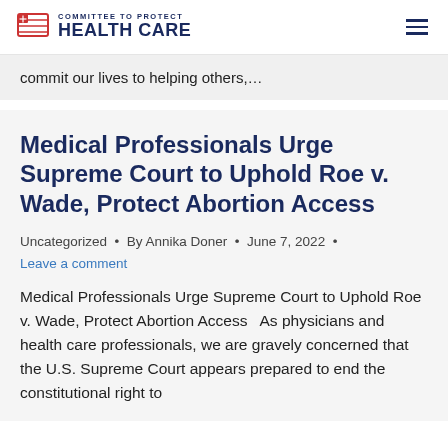COMMITTEE TO PROTECT HEALTH CARE
commit our lives to helping others,...
Medical Professionals Urge Supreme Court to Uphold Roe v. Wade, Protect Abortion Access
Uncategorized • By Annika Doner • June 7, 2022 •
Leave a comment
Medical Professionals Urge Supreme Court to Uphold Roe v. Wade, Protect Abortion Access   As physicians and health care professionals, we are gravely concerned that the U.S. Supreme Court appears prepared to end the constitutional right to